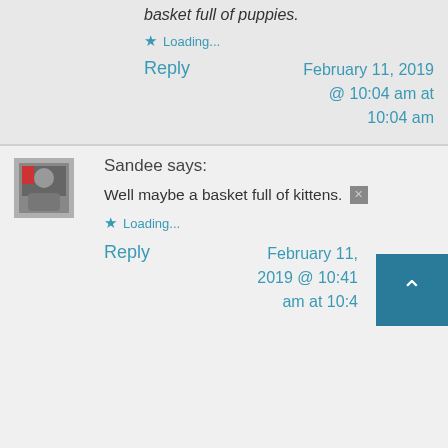basket full of puppies.
Loading...
Reply
February 11, 2019 @ 10:04 am at 10:04 am
[Figure (photo): Avatar image of commenter Sandee]
Sandee says:
Well maybe a basket full of kittens.
Loading...
Reply
February 11, 2019 @ 10:41 am at 10:4...